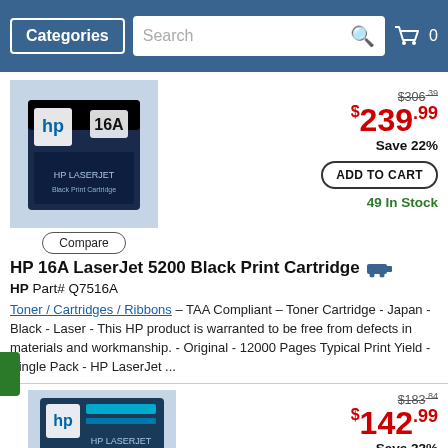Categories | Search | Cart 0
[Figure (photo): HP 16A LaserJet 5200 Black Print Cartridge box photo]
$306.39 (strikethrough original price)
$239.99 sale price
Save 22%
ADD TO CART
49 In Stock
Compare
HP 16A LaserJet 5200 Black Print Cartridge
HP Part# Q7516A
Toner / Cartridges / Ribbons – TAA Compliant – Toner Cartridge - Japan - Black - Laser - This HP product is warranted to be free from defects in materials and workmanship. - Original - 12000 Pages Typical Print Yield - Single Pack - HP LaserJet ...
[Figure (photo): HP 364A toner cartridge box photo]
$183.84 (strikethrough original price)
$142.99 sale price
Save 22%
ADD TO CART
76 In Stock